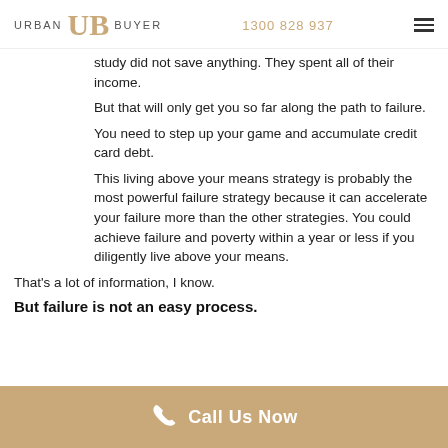URBAN UB BUYER  1300 828 937
study did not save anything. They spent all of their income.
But that will only get you so far along the path to failure.
You need to step up your game and accumulate credit card debt.
This living above your means strategy is probably the most powerful failure strategy because it can accelerate your failure more than the other strategies. You could achieve failure and poverty within a year or less if you diligently live above your means.
That's a lot of information, I know.
But failure is not an easy process.
Call Us Now